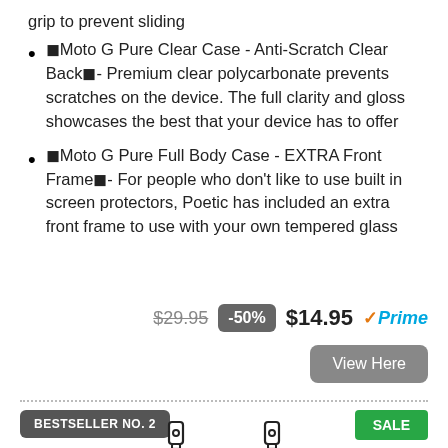grip to prevent sliding
◼Moto G Pure Clear Case - Anti-Scratch Clear Back◼- Premium clear polycarbonate prevents scratches on the device. The full clarity and gloss showcases the best that your device has to offer
◼Moto G Pure Full Body Case - EXTRA Front Frame◼- For people who don't like to use built in screen protectors, Poetic has included an extra front frame to use with your own tempered glass
$29.95  -50%  $14.95 ✓Prime
View Here
BESTSELLER NO. 2
SALE